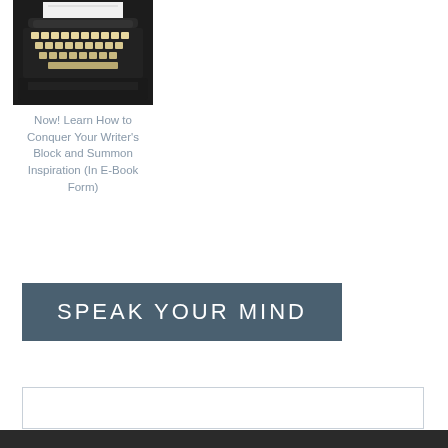[Figure (photo): Close-up photo of a vintage black typewriter keyboard and mechanism]
Now! Learn How to Conquer Your Writer's Block and Summon Inspiration (In E-Book Form)
SPEAK YOUR MIND
[text input field]